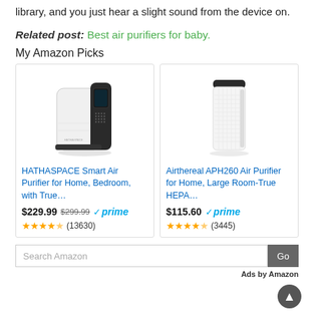library, and you just hear a slight sound from the device on.
Related post: Best air purifiers for baby.
My Amazon Picks
[Figure (photo): HATHASPACE Smart Air Purifier product photo - white and black air purifier unit]
HATHASPACE Smart Air Purifier for Home, Bedroom, with True…
$229.99 $299.99 ✓prime ★★★★★ (13630)
[Figure (photo): Airthereal APH260 Air Purifier product photo - white tower air purifier]
Airthereal APH260 Air Purifier for Home, Large Room-True HEPA…
$115.60 ✓prime ★★★★★ (3445)
Search Amazon
Ads by Amazon